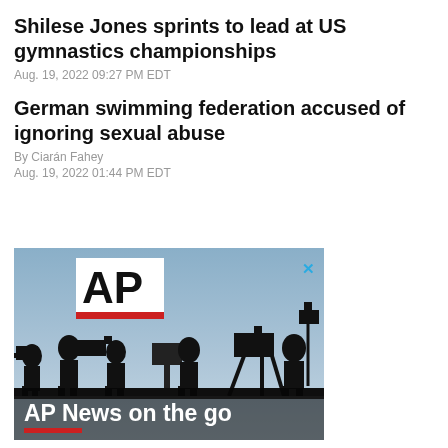Shilese Jones sprints to lead at US gymnastics championships
Aug. 19, 2022 09:27 PM EDT
German swimming federation accused of ignoring sexual abuse
By Ciarán Fahey
Aug. 19, 2022 01:44 PM EDT
[Figure (photo): AP News advertisement showing silhouettes of camera operators and journalists against a blue sky background, with AP logo and text 'AP News on the go']